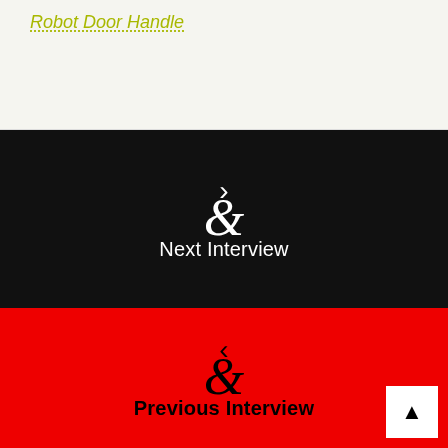Robot Door Handle
Next Interview
Previous Interview